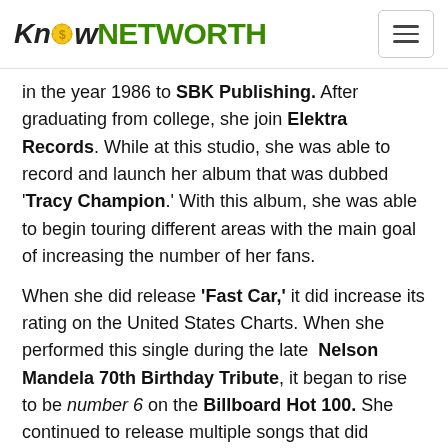KnowNETWORTH
in the year 1986 to SBK Publishing. After graduating from college, she join Elektra Records. While at this studio, she was able to record and launch her album that was dubbed 'Tracy Champion.' With this album, she was able to begin touring different areas with the main goal of increasing the number of her fans.
When she did release 'Fast Car,' it did increase its rating on the United States Charts. When she performed this single during the late Nelson Mandela 70th Birthday Tribute, it began to rise to be number 6 on the Billboard Hot 100. She continued to release multiple songs that did receive a very good reception. Since, her first song till date she has written and sang dozens of songs and